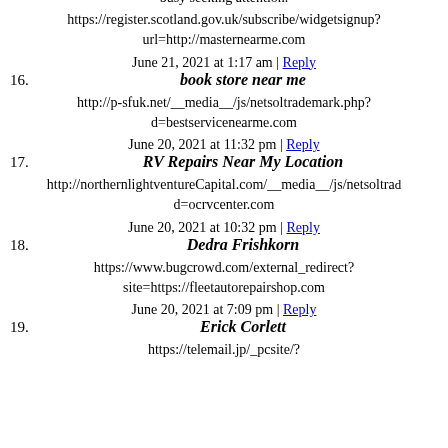busy seeking attention.
https://register.scotland.gov.uk/subscribe/widgetsignup?url=http://masternearme.com
June 21, 2021 at 1:17 am | Reply
16. book store near me
http://p-sfuk.net/__media__/js/netsoltrademark.php?d=bestservicenearme.com
June 20, 2021 at 11:32 pm | Reply
17. RV Repairs Near My Location
http://northernlightventurecapital.com/__media__/js/netsoltrademark...d=ocrvcenter.com
June 20, 2021 at 10:32 pm | Reply
18. Dedra Frishkorn
https://www.bugcrowd.com/external_redirect?site=https://fleetautorepairshop.com
June 20, 2021 at 7:09 pm | Reply
19. Erick Corlett
https://telemail.jp/_pcsite/?